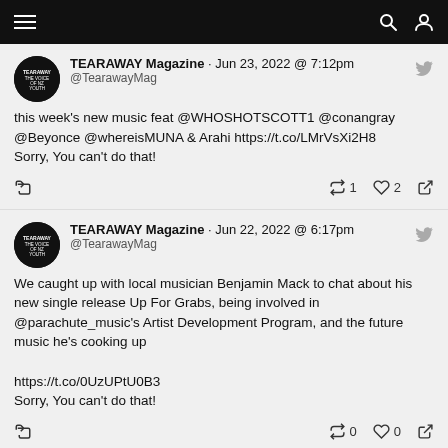Navigation bar with menu, search, and user icons
TEARAWAY Magazine · Jun 23, 2022 @ 7:12pm
@TearawayMag
this week's new music feat @WHOSHOTSCOTT1 @conangray @Beyonce @whereisMUNA & Arahi https://t.co/LMrVsXi2H8
Sorry, You can't do that!
Retweet 1  Like 2  Share
TEARAWAY Magazine · Jun 22, 2022 @ 6:17pm
@TearawayMag
We caught up with local musician Benjamin Mack to chat about his new single release Up For Grabs, being involved in @parachute_music's Artist Development Program, and the future music he's cooking up

https://t.co/0UzUPtU0B3
Sorry, You can't do that!
Retweet 0  Like 0  Share